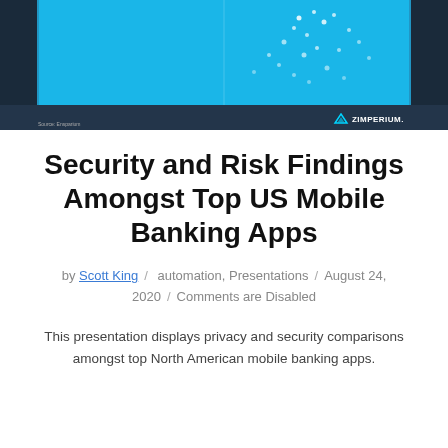[Figure (screenshot): Screenshot of a scatter plot slide with cyan/blue background showing 'Needs Improvement' and 'Security Risk' labels, with Zimperium logo in the bottom right corner.]
Security and Risk Findings Amongst Top US Mobile Banking Apps
by Scott King / automation, Presentations / August 24, 2020 / Comments are Disabled
This presentation displays privacy and security comparisons amongst top North American mobile banking apps.